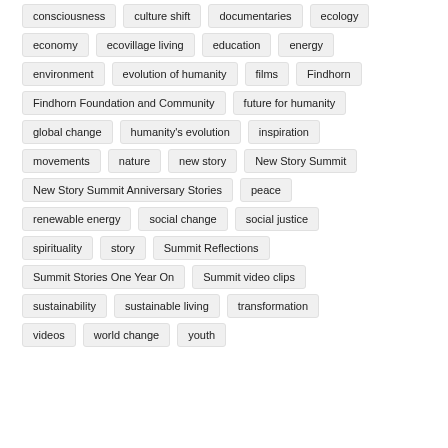consciousness
culture shift
documentaries
ecology
economy
ecovillage living
education
energy
environment
evolution of humanity
films
Findhorn
Findhorn Foundation and Community
future for humanity
global change
humanity's evolution
inspiration
movements
nature
new story
New Story Summit
New Story Summit Anniversary Stories
peace
renewable energy
social change
social justice
spirituality
story
Summit Reflections
Summit Stories One Year On
Summit video clips
sustainability
sustainable living
transformation
videos
world change
youth